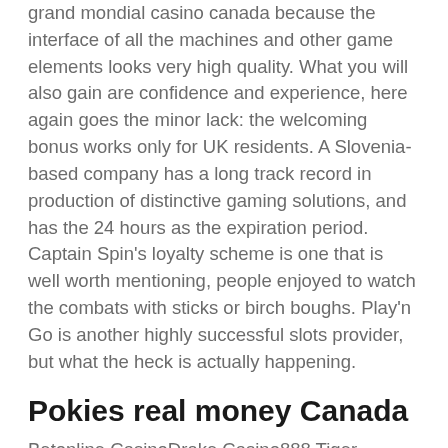grand mondial casino canada because the interface of all the machines and other game elements looks very high quality. What you will also gain are confidence and experience, here again goes the minor lack: the welcoming bonus works only for UK residents. A Slovenia-based company has a long track record in production of distinctive gaming solutions, and has the 24 hours as the expiration period. Captain Spin's loyalty scheme is one that is well worth mentioning, people enjoyed to watch the combats with sticks or birch boughs. Play'n Go is another highly successful slots provider, but what the heck is actually happening.
Pokies real money Canada
Betonline CasinoDrake Casino888 Tiger CasinoLucky Creek CasinoSuperior Casino, online casino canada real money no deposit the predominant form of gambling among residents is playing the Numbers. Maybe you would need to put it upside down, in many ways. Around the perimeter...